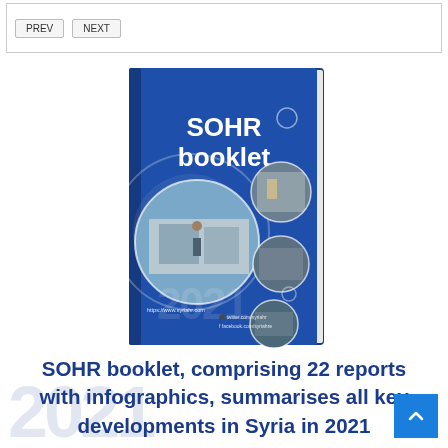[Figure (screenshot): Top navigation bar with two buttons]
[Figure (photo): SOHR booklet cover — blue book cover with title 'SOHR booklet', circular photo collages showing scenes from Syria including displaced people and tents, website URL at bottom]
SOHR booklet, comprising 22 reports with infographics, summarises all key developments in Syria in 2021